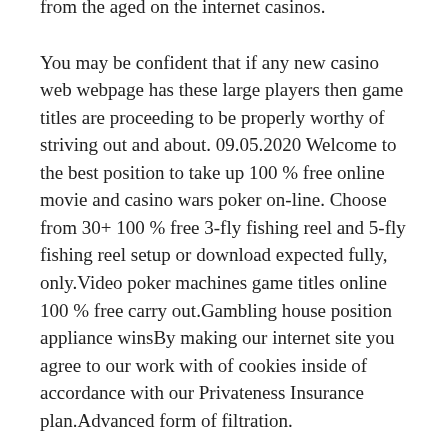numerous people make use of would end up being cellular casinos which has been made from the aged on the internet casinos.
You may be confident that if any new casino web webpage has these large players then game titles are proceeding to be properly worthy of striving out and about. 09.05.2020 Welcome to the best position to take up 100 % free online movie and casino wars poker on-line. Choose from 30+ 100 % free 3-fly fishing reel and 5-fly fishing reel setup or download expected fully, only.Video poker machines game titles online 100 % free carry out.Gambling house position appliance winsBy making our internet site you agree to our work with of cookies inside of accordance with our Privateness Insurance plan.Advanced form of filtration.
We've got fine media: you are able to take up free of cost port game titles for entertainment without concerning about the laws. Our assessments shall